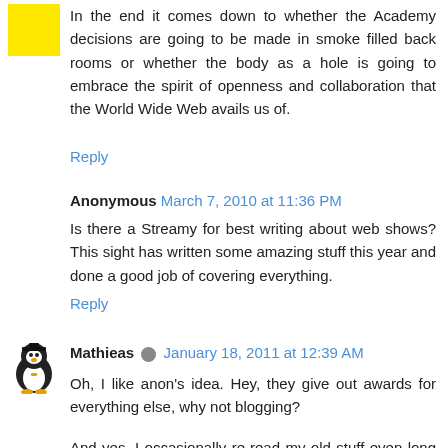[Figure (illustration): Yellow square avatar placeholder for commenter]
In the end it comes down to whether the Academy decisions are going to be made in smoke filled back rooms or whether the body as a hole is going to embrace the spirit of openness and collaboration that the World Wide Web avails us of.
Reply
Anonymous March 7, 2010 at 11:36 PM
Is there a Streamy for best writing about web shows? This sight has written some amazing stuff this year and done a good job of covering everything.
Reply
[Figure (illustration): Mathieas avatar: cartoon penguin in tuxedo]
Mathieas January 18, 2011 at 12:39 AM
Oh, I like anon's idea. Hey, they give out awards for everything else, why not blogging?
And yes, I occasionally re-read my old stuff even long after